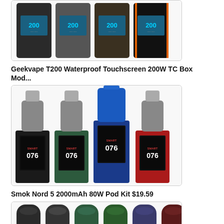[Figure (photo): Four Geekvape box mods in different colors (black, gray, khaki, and orange) showing 200W display]
Geekvape T200 Waterproof Touchscreen 200W TC Box Mod...
[Figure (photo): Four Geekvape T200 box mod kits with tanks in black, green, blue, and red colors showing 076 display]
Smok Nord 5 2000mAh 80W Pod Kit $19.59
[Figure (photo): Row of Smok Nord 5 pod devices in multiple colors partially visible at bottom]